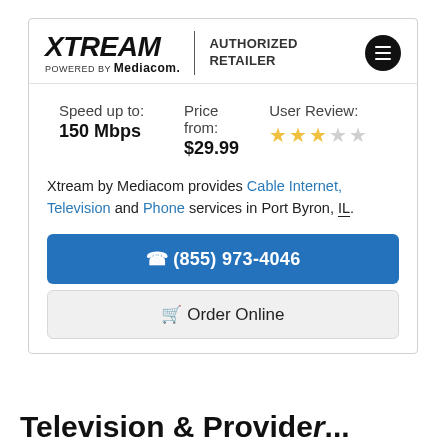[Figure (logo): Xtream powered by Mediacom — Authorized Retailer logo with hamburger menu icon]
Speed up to: 150 Mbps
Price from: $29.99
User Review: 2.5 out of 5 stars
Xtream by Mediacom provides Cable Internet, Television and Phone services in Port Byron, IL.
☎ (855) 973-4046
🛒 Order Online
Television & Provide...